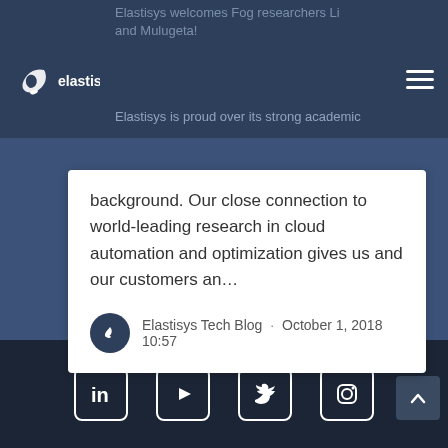Elastisys welcomes Fog researchers Li and Mulugeta!
[Figure (logo): Elastisys logo — white spiral leaf icon with 'elastisys' wordmark in white]
Elastisys is proud over its strong academic background. Our close connection to world-leading research in cloud automation and optimization gives us and our customers an…
Elastisys Tech Blog · October 1, 2018 10:57
1  2  Next →
[Figure (infographic): Footer social media icons: LinkedIn, YouTube, Twitter, Instagram]